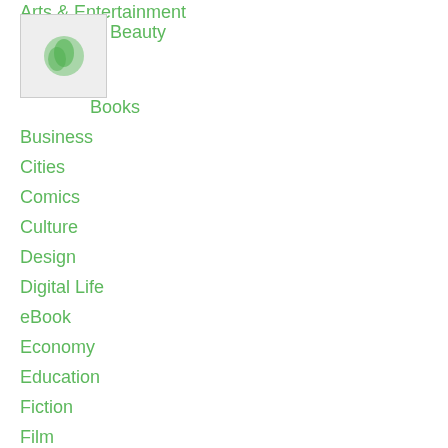Arts & Entertainment
[Figure (logo): Small green logo/icon in a light grey box]
Beauty
Books
Business
Cities
Comics
Culture
Design
Digital Life
eBook
Economy
Education
Fiction
Film
Food
Freelancing
Gaming